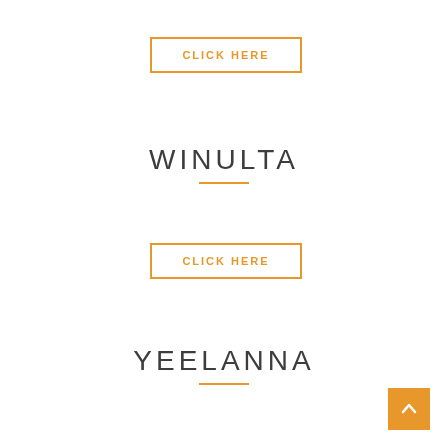CLICK HERE
WINULTA
CLICK HERE
YEELANNA